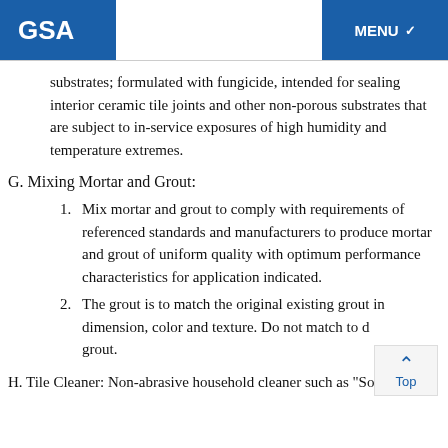GSA  MENU
substrates; formulated with fungicide, intended for sealing interior ceramic tile joints and other non-porous substrates that are subject to in-service exposures of high humidity and temperature extremes.
G. Mixing Mortar and Grout:
Mix mortar and grout to comply with requirements of referenced standards and manufacturers to produce mortar and grout of uniform quality with optimum performance characteristics for application indicated.
The grout is to match the original existing grout in dimension, color and texture. Do not match to d grout.
H. Tile Cleaner: Non-abrasive household cleaner such as "Soft